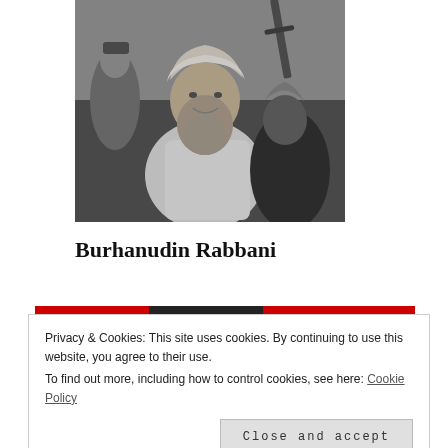[Figure (photo): Black and white photograph of Burhanudin Rabbani, a bearded man wearing a white turban and traditional white clothing, seated and smiling, with other figures visible in the background including someone holding a rifle.]
Burhanudin Rabbani
Privacy & Cookies: This site uses cookies. By continuing to use this website, you agree to their use.
To find out more, including how to control cookies, see here: Cookie Policy
Close and accept